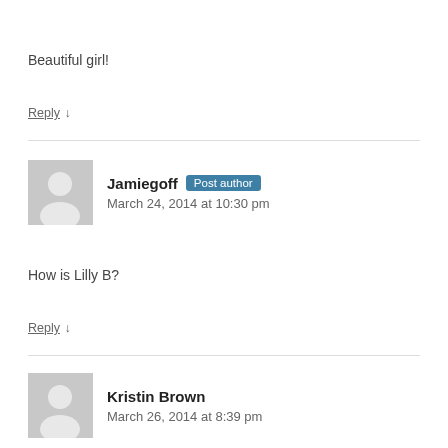Beautiful girl!
Reply ↓
Jamiegoff Post author
March 24, 2014 at 10:30 pm
How is Lilly B?
Reply ↓
Kristin Brown
March 26, 2014 at 8:39 pm